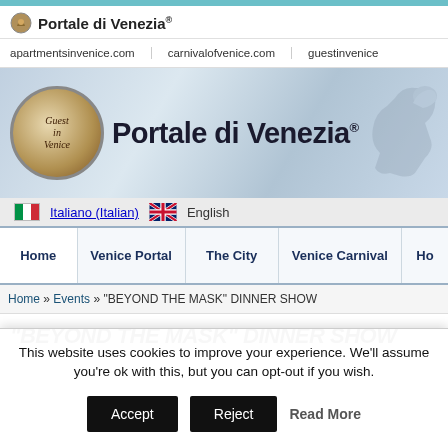Portale di Venezia®
apartmentsinvenice.com   carnivalofvenice.com   guestinvenice
[Figure (screenshot): Portale di Venezia website banner with circular Guest in Venice logo and main title 'Portale di Venezia®' on a blue-grey gradient background with a lion silhouette on the right]
🇮🇹 Italiano (Italian)  🇬🇧 English
Home   Venice Portal   The City   Venice Carnival   Ho...
Home » Events » "BEYOND THE MASK" DINNER SHOW
"BEYOND THE MASK" DINNER SHOW
This website uses cookies to improve your experience. We'll assume you're ok with this, but you can opt-out if you wish.
Accept   Reject   Read More